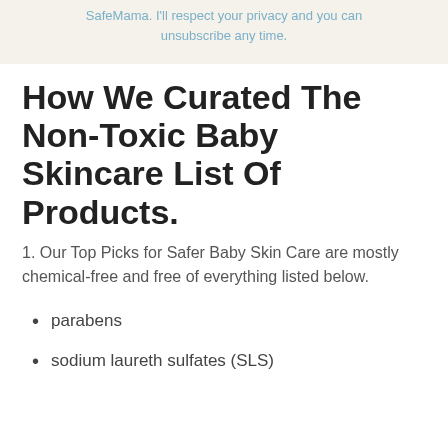SafeMama. I'll respect your privacy and you can unsubscribe any time.
How We Curated The Non-Toxic Baby Skincare List Of Products.
1. Our Top Picks for Safer Baby Skin Care are mostly chemical-free and free of everything listed below.
parabens
sodium laureth sulfates (SLS)